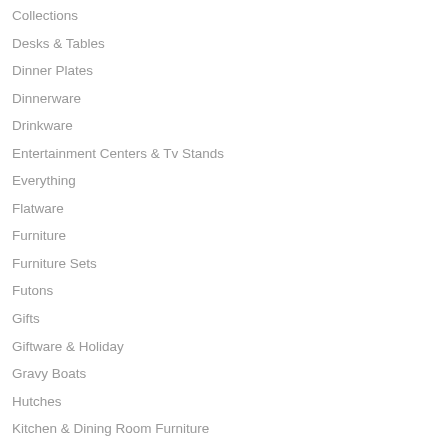Collections
Desks & Tables
Dinner Plates
Dinnerware
Drinkware
Entertainment Centers & Tv Stands
Everything
Flatware
Furniture
Furniture Sets
Futons
Gifts
Giftware & Holiday
Gravy Boats
Hutches
Kitchen & Dining Room Furniture